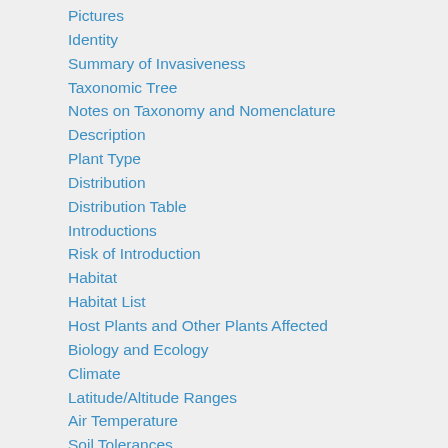Pictures
Identity
Summary of Invasiveness
Taxonomic Tree
Notes on Taxonomy and Nomenclature
Description
Plant Type
Distribution
Distribution Table
Introductions
Risk of Introduction
Habitat
Habitat List
Host Plants and Other Plants Affected
Biology and Ecology
Climate
Latitude/Altitude Ranges
Air Temperature
Soil Tolerances
Natural enemies
Means of Movement and Dispersal
Pathway Causes
Pathway Vectors
Plant Trade
Impact Summary